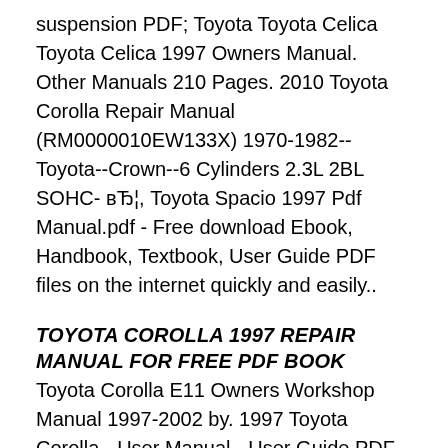suspension PDF; Toyota Toyota Celica Toyota Celica 1997 Owners Manual. Other Manuals 210 Pages. 2010 Toyota Corolla Repair Manual (RM0000010EW133X) 1970-1982--Toyota--Crown--6 Cylinders 2.3L 2BL SOHC- вЂ¦, Toyota Spacio 1997 Pdf Manual.pdf - Free download Ebook, Handbook, Textbook, User Guide PDF files on the internet quickly and easily..
TOYOTA COROLLA 1997 REPAIR MANUAL FOR FREE PDF BOOK
Toyota Corolla E11 Owners Workshop Manual 1997-2002 by. 1997 Toyota Corolla - User Manual - User Guide PDF download or read online. Toyota Owners Find A Dealer Sign in Join now Disclaimer Newest Added: JN327H1CC E700i-B3 GTH21SRWASS AKO08ANW1 HRF15N3BGF1997